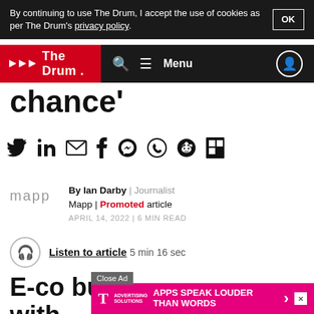By continuing to use The Drum, I accept the use of cookies as per The Drum's privacy policy.
The Drum — Navigation bar with logo, search, menu, and user icon
chance'
[Figure (infographic): Social sharing icons row: Twitter, LinkedIn, Email, Facebook, Messenger, WhatsApp, Reddit, Flipboard]
By Ian Darby | Journalist
Mapp | Promoted article
APRIL 14, 2022 | 6 MIN READ
Listen to article 5 min 16 sec
Close Ad
[Figure (screenshot): T-Mobile Advertising Solutions banner ad: APPS SPEAK LOUDER THAN WORDS]
E-co... but with...